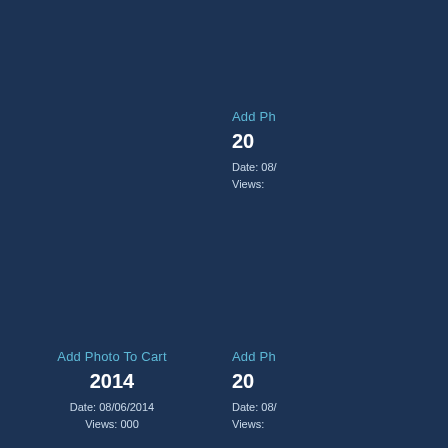Add Photo To Cart
2014
Date: 08/06/2014
Views: 913
Add Ph...
20...
Date: 08...
Views:...
Add Photo To Cart
2014
Date: 08/06/2014
Views: 000
Add Ph...
20...
Date: 08...
Views:...